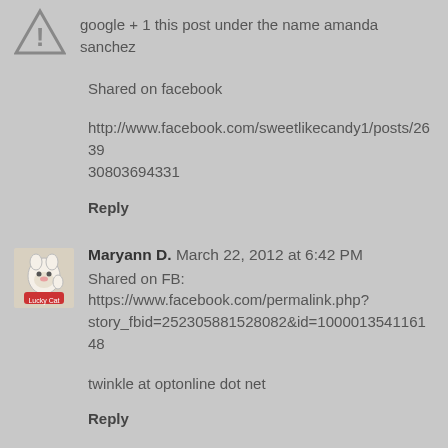google + 1 this post under the name amanda sanchez
Shared on facebook
http://www.facebook.com/sweetlikecandy1/posts/263930803694331
Reply
Maryann D.  March 22, 2012 at 6:42 PM
Shared on FB:
https://www.facebook.com/permalink.php?story_fbid=252305881528082&id=100001354116148
twinkle at optonline dot net
Reply
Maryann D.  March 22, 2012 at 6:44 PM
publicly +1'd this as Maryann D. and shared